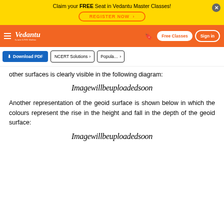Claim your FREE Seat in Vedantu Master Classes! REGISTER NOW
[Figure (logo): Vedantu orange navigation bar with logo, Free Classes and Sign in buttons]
[Figure (screenshot): Toolbar with Download PDF button, NCERT Solutions button, Popular button]
other surfaces is clearly visible in the following diagram:
[Figure (illustration): Imagewillbeuploadedsoon placeholder text in italic]
Another representation of the geoid surface is shown below in which the colours represent the rise in the height and fall in the depth of the geoid surface:
[Figure (illustration): Imagewillbeuploadedsoon placeholder text in italic]